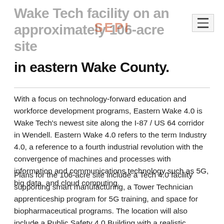Wake Tech facility on an approximately 106-acre site in eastern Wake County.
With a focus on technology-forward education and workforce development programs, Eastern Wake 4.0 is Wake Tech's newest site along the I-87 / US 64 corridor in Wendell. Eastern Wake 4.0 refers to the term Industry 4.0, a reference to a fourth industrial revolution with the convergence of machines and processes with information and communications technology such as 5G, big data, and cloud computing.
Plans for the 106-acre site include a Tech 4.0 facility supporting smart manufacturing, a Tower Technician apprenticeship program for 5G training, and space for biopharmaceutical programs. The location will also include a Public Safety 4.0 Building with a realistic